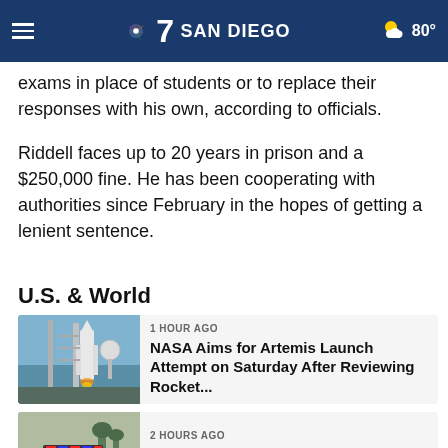7 SAN DIEGO — 80°
The alleged ring leader of the operation, William 'Rick' Singer, bribed test administrators to allow Riddell to take the exams in place of students or to replace their responses with his own, according to officials.
Riddell faces up to 20 years in prison and a $250,000 fine. He has been cooperating with authorities since February in the hopes of getting a lenient sentence.
U.S. & World
[Figure (photo): Rocket on launch pad at NASA facility]
1 HOUR AGO
NASA Aims for Artemis Launch Attempt on Saturday After Reviewing Rocket...
[Figure (photo): Police car with emergency lights on roof]
2 HOURS AGO
Man's Intoxicated Target Practice Kills Neighbor: Sheriff